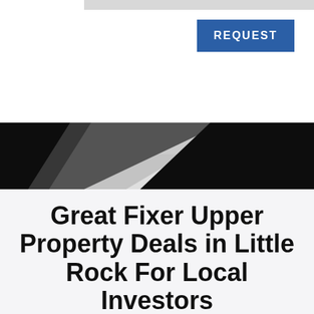[Figure (screenshot): Website screenshot showing a blue REQUEST button on white background with dark diagonal graphic element below]
Great Fixer Upper Property Deals in Little Rock For Local Investors
We also come across many distressed